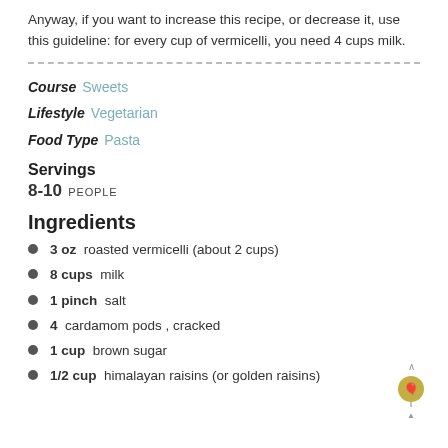Anyway, if you want to increase this recipe, or decrease it, use this guideline: for every cup of vermicelli, you need 4 cups milk.
Course  Sweets
Lifestyle  Vegetarian
Food Type  Pasta
Servings
8-10 PEOPLE
Ingredients
3 oz  roasted vermicelli (about 2 cups)
8 cups  milk
1 pinch  salt
4  cardamom pods , cracked
1 cup  brown sugar
1/2 cup  himalayan raisins (or golden raisins)